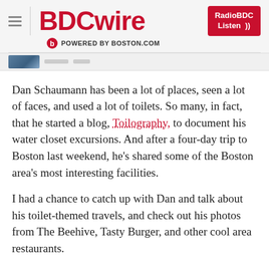BDCwire — POWERED BY BOSTON.COM — RadioBDC Listen
[Figure (photo): Partial thumbnail image strip at top of article]
Dan Schaumann has been a lot of places, seen a lot of faces, and used a lot of toilets. So many, in fact, that he started a blog, Toilography, to document his water closet excursions. And after a four-day trip to Boston last weekend, he's shared some of the Boston area's most interesting facilities.
I had a chance to catch up with Dan and talk about his toilet-themed travels, and check out his photos from The Beehive, Tasty Burger, and other cool area restaurants.
What is the coolest toilet you've ever seen on your journeys?